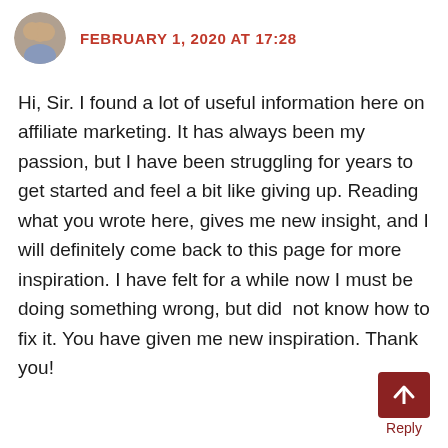FEBRUARY 1, 2020 AT 17:28
Hi, Sir. I found a lot of useful information here on affiliate marketing. It has always been my passion, but I have been struggling for years to get started and feel a bit like giving up. Reading what you wrote here, gives me new insight, and I will definitely come back to this page for more inspiration. I have felt for a while now I must be doing something wrong, but did  not know how to fix it. You have given me new inspiration. Thank you!